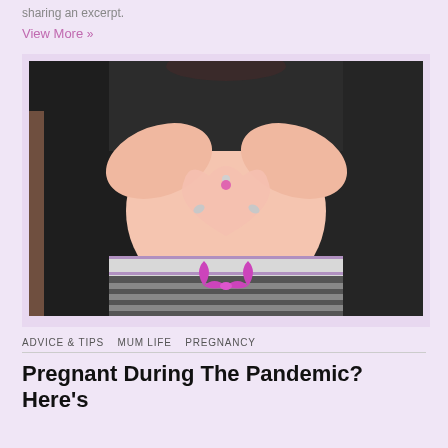sharing an excerpt.
View More »
[Figure (photo): A pregnant woman forming a heart shape with her hands over her bare baby bump. She is wearing a black cardigan and striped pants with a pink/purple bow. She has a belly button piercing. The photo is taken outdoors.]
ADVICE & TIPS   MUM LIFE   PREGNANCY
Pregnant During The Pandemic? Here's